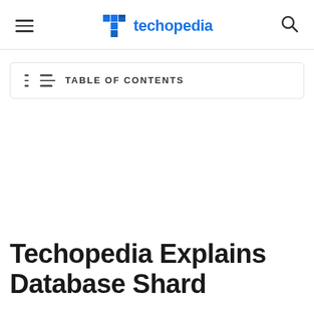techopedia
TABLE OF CONTENTS
Techopedia Explains Database Shard